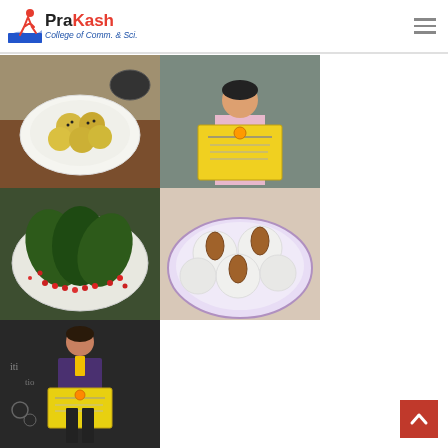PraKash College of Comm. & Sci.
[Figure (photo): Food item - yellow ladoos on a white plate on a table]
[Figure (photo): Student holding a yellow certificate in front of a blackboard]
[Figure (photo): Food item - green leaves with pomegranate seeds on a plate]
[Figure (photo): Food item - white coconut modaks with almonds on a decorative plate]
[Figure (photo): Student standing holding a yellow certificate in front of a blackboard with medal]